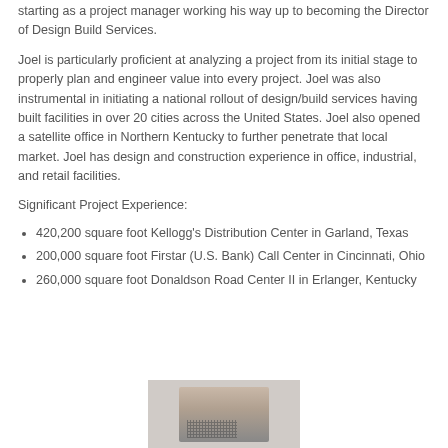starting as a project manager working his way up to becoming the Director of Design Build Services.
Joel is particularly proficient at analyzing a project from its initial stage to properly plan and engineer value into every project. Joel was also instrumental in initiating a national rollout of design/build services having built facilities in over 20 cities across the United States. Joel also opened a satellite office in Northern Kentucky to further penetrate that local market. Joel has design and construction experience in office, industrial, and retail facilities.
Significant Project Experience:
420,200 square foot Kellogg's Distribution Center in Garland, Texas
200,000 square foot Firstar (U.S. Bank) Call Center in Cincinnati, Ohio
260,000 square foot Donaldson Road Center II in Erlanger, Kentucky
[Figure (photo): A partial photo of a person or object, visible at the bottom of the page, showing a blurred/cropped image with a dark dotted grid pattern at the lower portion.]